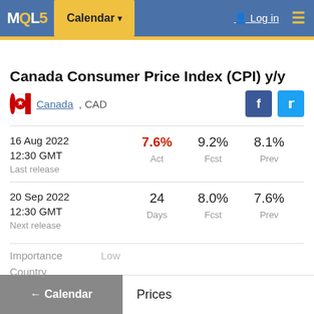MQL5 | Calendar | Log in
Canada Consumer Price Index (CPI) y/y
Canada, CAD
|  | Act | Fcst | Prev |
| --- | --- | --- | --- |
| 16 Aug 2022 12:30 GMT
Last release | 7.6% | 9.2% | 8.1% |
| 20 Sep 2022 12:30 GMT
Next release | 24 Days | 8.0% | 7.6% |
Importance: Low
Country: Prices